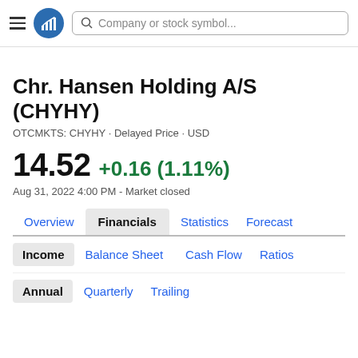Company or stock symbol...
Chr. Hansen Holding A/S (CHYHY)
OTCMKTS: CHYHY · Delayed Price · USD
14.52 +0.16 (1.11%)
Aug 31, 2022 4:00 PM - Market closed
Overview | Financials | Statistics | Forecast
Income | Balance Sheet | Cash Flow | Ratios
Annual | Quarterly | Trailing